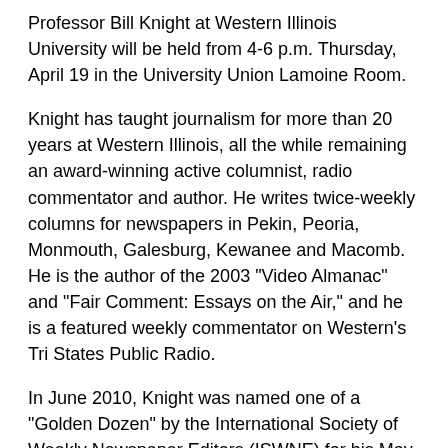Professor Bill Knight at Western Illinois University will be held from 4-6 p.m. Thursday, April 19 in the University Union Lamoine Room.
Knight has taught journalism for more than 20 years at Western Illinois, all the while remaining an award-winning active columnist, radio commentator and author. He writes twice-weekly columns for newspapers in Pekin, Peoria, Monmouth, Galesburg, Kewanee and Macomb. He is the author of the 2003 "Video Almanac" and "Fair Comment: Essays on the Air," and he is a featured weekly commentator on Western's Tri States Public Radio.
In June 2010, Knight was named one of a "Golden Dozen" by the International Society of Weekly Newspaper Editors (ISWNE) for his May 2009 opinion piece on moving Guantanamo Bay detainees to Illinois. The op-ed, "Illinois Can Handle Detainees," which commented on moving nearly 250 Guantanamo Bay terror suspects to